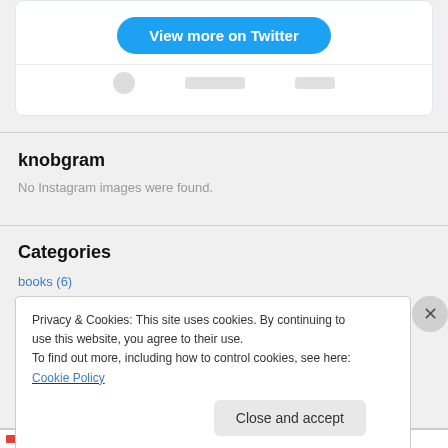[Figure (screenshot): Twitter embed card with 'View more on Twitter' blue button]
knobgram
No Instagram images were found.
Categories
books (6)
Privacy & Cookies: This site uses cookies. By continuing to use this website, you agree to their use.
To find out more, including how to control cookies, see here: Cookie Policy
Close and accept